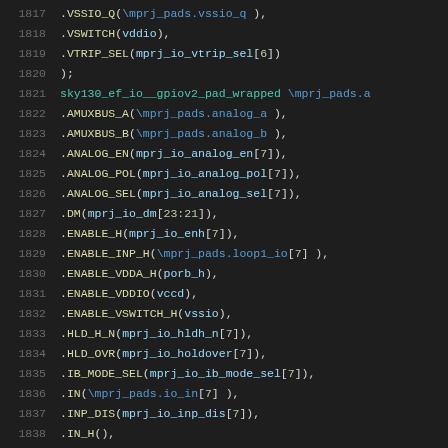Code listing lines 1817-1838, Verilog/SystemVerilog HDL source showing pad module instantiation with port connections including VSSIO_Q, VSWITCH, VTRIP_SEL, sky130_ef_io__gpiov2_pad_wrapped, AMUXBUS_A/B, ANALOG_EN/POL/SEL, DM, ENABLE_H, ENABLE_INP_H, ENABLE_VDDA_H, ENABLE_VDDIO, ENABLE_VSWITCH_H, HLD_H_N, HLD_OVR, IB_MODE_SEL, IN, INP_DIS, IN_H